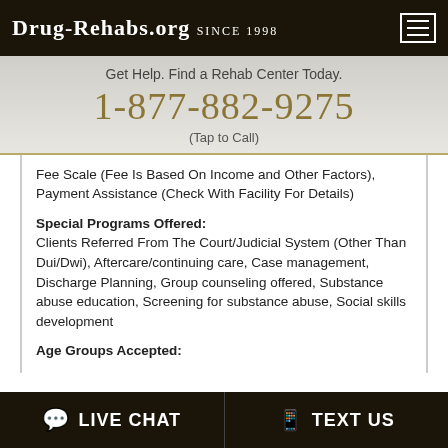Drug-Rehabs.org Since 1998
Get Help. Find a Rehab Center Today.
1-877-882-9275
(Tap to Call)
Fee Scale (Fee Is Based On Income and Other Factors), Payment Assistance (Check With Facility For Details)
Special Programs Offered: Clients Referred From The Court/Judicial System (Other Than Dui/Dwi), Aftercare/continuing care, Case management, Discharge Planning, Group counseling offered, Substance abuse education, Screening for substance abuse, Social skills development
Age Groups Accepted:
LIVE CHAT   TEXT US